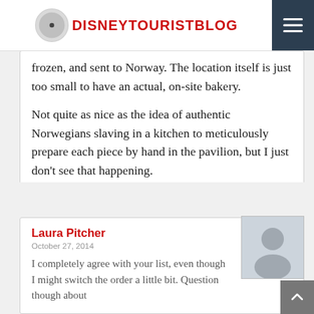DISNEYTOURISTBLOG
frozen, and sent to Norway. The location itself is just too small to have an actual, on-site bakery.
Not quite as nice as the idea of authentic Norwegians slaving in a kitchen to meticulously prepare each piece by hand in the pavilion, but I just don't see that happening.
That probably explains the School Bread you had. Sorry you had the bad luck!
Laura Pitcher
October 27, 2014
I completely agree with your list, even though I might switch the order a little bit. Question though about...